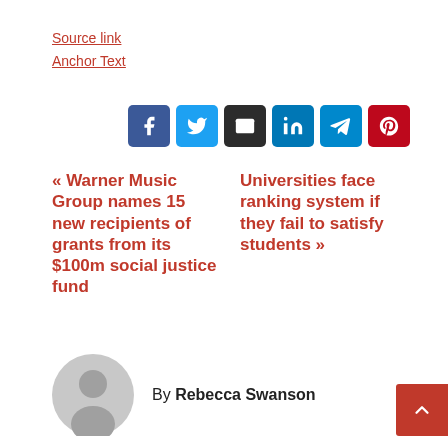Source link
Anchor Text
[Figure (other): Social share buttons: Facebook, Twitter, Email, LinkedIn, Telegram, Pinterest]
« Warner Music Group names 15 new recipients of grants from its $100m social justice fund
Universities face ranking system if they fail to satisfy students »
By Rebecca Swanson
[Figure (photo): Author avatar placeholder — grey circle with silhouette]